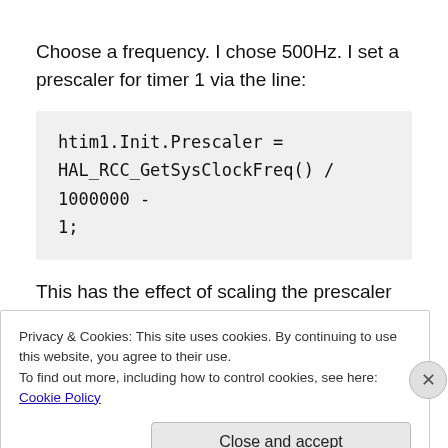Choose a frequency. I chose 500Hz. I set a prescaler for timer 1 via the line:
htim1.Init.Prescaler = HAL_RCC_GetSysClockFreq() / 1000000 - 1;
This has the effect of scaling the prescaler so that timer 1 is at 1MHz. We actually want a PWM frequency of 500Hz.
This is calculated according to the formula
Privacy & Cookies: This site uses cookies. By continuing to use this website, you agree to their use.
To find out more, including how to control cookies, see here: Cookie Policy
Close and accept